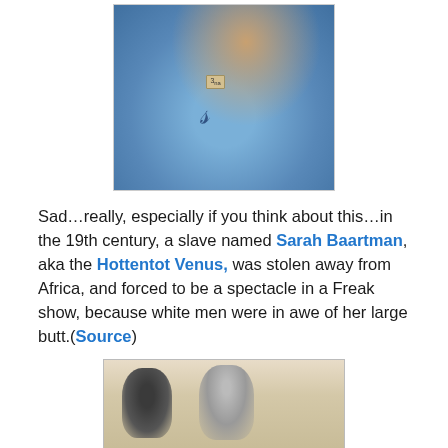[Figure (photo): Close-up photo of someone wearing blue jeans with a brand label and logo, posed against a decorative background with warm and rich tones.]
Sad…really, especially if you think about this…in the 19th century, a slave named Sarah Baartman, aka the Hottentot Venus, was stolen away from Africa, and forced to be a spectacle in a Freak show, because white men were in awe of her large butt.(Source)
[Figure (photo): Black and white historical illustration showing figures, likely related to Sarah Baartman/Hottentot Venus.]